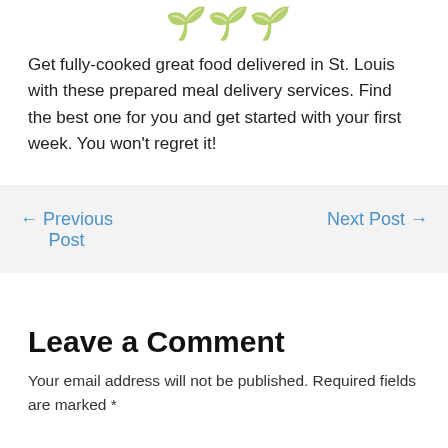[Figure (logo): Partial green stylized logo/text visible at top of page]
Get fully-cooked great food delivered in St. Louis with these prepared meal delivery services. Find the best one for you and get started with your first week. You won't regret it!
← Previous Post
Next Post →
Leave a Comment
Your email address will not be published. Required fields are marked *